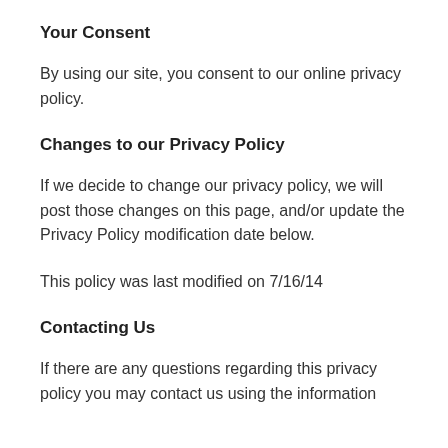Your Consent
By using our site, you consent to our online privacy policy.
Changes to our Privacy Policy
If we decide to change our privacy policy, we will post those changes on this page, and/or update the Privacy Policy modification date below.
This policy was last modified on 7/16/14
Contacting Us
If there are any questions regarding this privacy policy you may contact us using the information